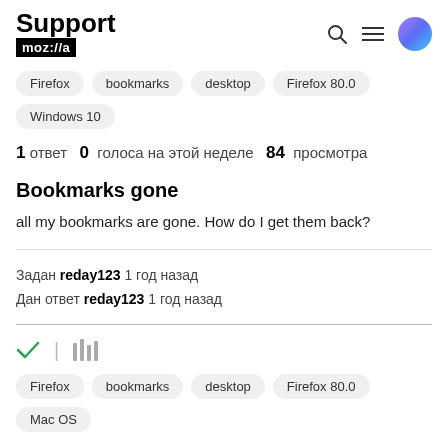Support mozilla
Firefox  bookmarks  desktop  Firefox 80.0  Windows 10
1 ответ  0  голоса на этой неделе  84 просмотра
Bookmarks gone
all my bookmarks are gone. How do I get them back?
Задан reday123 1 год назад
Дан ответ reday123 1 год назад
Firefox  bookmarks  desktop  Firefox 80.0  Mac OS